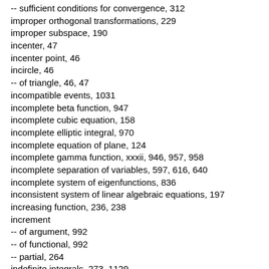-- sufficient conditions for convergence, 312
improper orthogonal transformations, 229
improper subspace, 190
incenter, 47
incenter point, 46
incircle, 46
-- of triangle, 46, 47
incompatible events, 1031
incomplete beta function, 947
incomplete cubic equation, 158
incomplete elliptic integral, 970
incomplete equation of plane, 124
incomplete gamma function, xxxii, 946, 957, 958
incomplete separation of variables, 597, 616, 640
incomplete system of eigenfunctions, 836
inconsistent system of linear algebraic equations, 197
increasing function, 236, 238
increment
-- of argument, 992
-- of functional, 992
-- partial, 264
indefinite integrals, 273, 1129
-- involving exponential functions, 1137
-- involving hyperbolic functions, 1137
-- involving inverse trigonometric functions, 1147
-- involving irrational functions, 1134